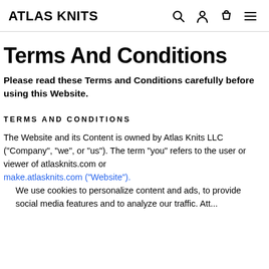ATLAS KNITS
Terms And Conditions
Please read these Terms and Conditions carefully before using this Website.
TERMS AND CONDITIONS
The Website and its Content is owned by Atlas Knits LLC (“Company”, “we”, or “us”). The term “you” refers to the user or viewer of atlasknits.com or make.atlasknits.com (“Website”). We use cookies to personalize content and ads, to provide social media features and to analyze our traffic. Att...